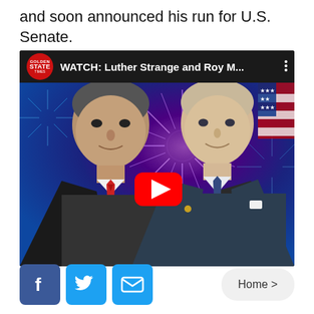and soon announced his run for U.S. Senate.
[Figure (screenshot): YouTube video thumbnail showing two men (Luther Strange and Roy Moore) in front of a fireworks background, with YouTube play button overlay. Channel is Golden State Times. Title reads: WATCH: Luther Strange and Roy M...]
[Figure (other): Social share bar with Facebook, Twitter, and email buttons, plus a Home > navigation link]